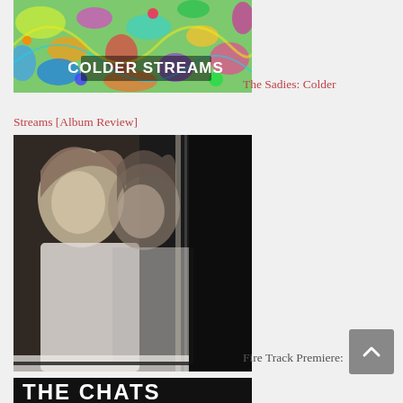[Figure (illustration): Colorful psychedelic album cover art with abstract swirls and patterns, text 'COLDER STREAMS' in the center]
The Sadies: Colder Streams [Album Review]
[Figure (photo): Black and white photo of a person with long hair, multiple exposure or reflection effect, wearing white shirt]
Fire Track Premiere: Jason Moules – "The..."
[Figure (photo): Partial black image showing 'THE CHATS' text in white bold letters]